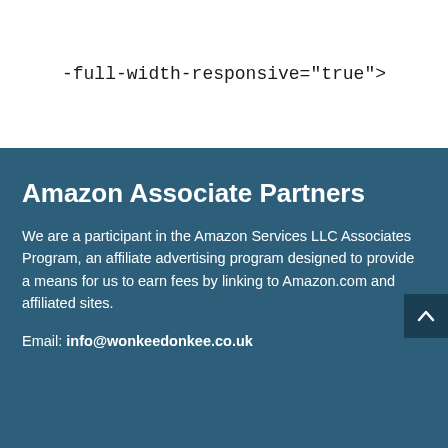-full-width-responsive="true">
Amazon Associate Partners
We are a participant in the Amazon Services LLC Associates Program, an affiliate advertising program designed to provide a means for us to earn fees by linking to Amazon.com and affiliated sites.
Email: info@wonkeedonkee.co.uk